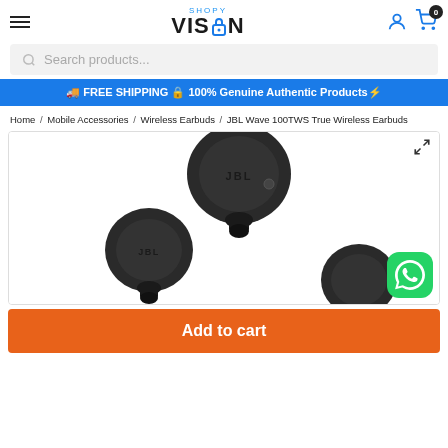SHOPY VISION – header with hamburger menu, logo, user icon, cart (0)
Search products...
🚚 FREE SHIPPING 🔒 100% Genuine Authentic Products⚡
Home / Mobile Accessories / Wireless Earbuds / JBL Wave 100TWS True Wireless Earbuds
[Figure (photo): JBL Wave 100TWS True Wireless Earbuds product photo showing three black earbuds from different angles on white background. WhatsApp contact button (green) in bottom-right corner. Expand icon in top-right corner.]
Add to cart